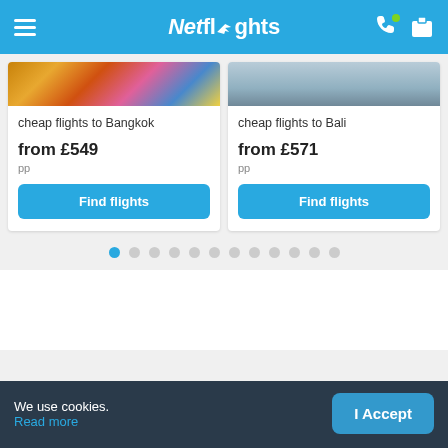Netflights
[Figure (screenshot): Colorful image of Bangkok destination]
cheap flights to Bangkok
from £549
pp
Find flights
[Figure (screenshot): Sky/landscape image of Bali destination]
cheap flights to Bali
from £571
pp
Find flights
We use cookies.
Read more
I Accept